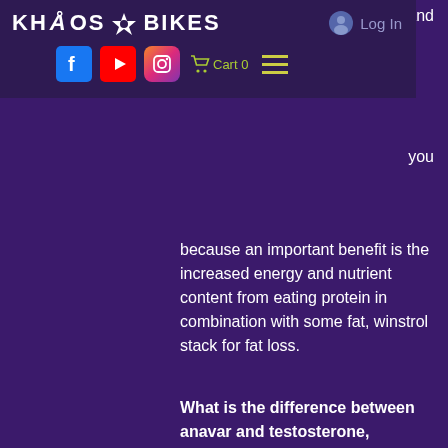[Figure (screenshot): Khaos Bikes website navigation bar with logo, Log In button, social media icons (Facebook, YouTube, Instagram), cart, and hamburger menu]
g and
you
because an important benefit is the increased energy and nutrient content from eating protein in combination with some fat, winstrol stack for fat loss.
What is the difference between anavar and testosterone, winstrol for loss fat stack?
As far as the difference between anavar and testosterone, this goes to the very heart of why it is not necessary to take the same amount of anavar – it's not true that testosterone supplements and anavar are really the same drug.
The difference is in the dose and the timing of administration.